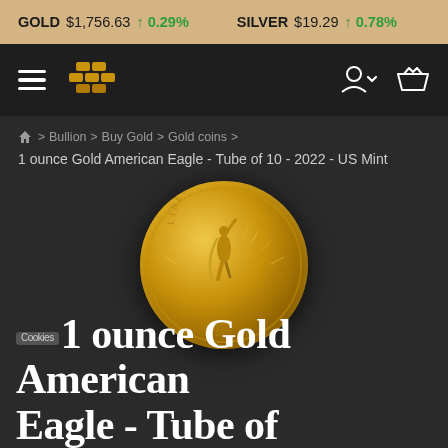GOLD $1,756.63 ↑ 0.29% SILVER $19.29 ↑ 0.78%
[Figure (screenshot): Navigation bar with hamburger menu, gold bars logo icon, user account icon with dropdown chevron, and shopping basket icon on dark background]
🏠 > Bullion > Buy Gold > Gold coins >
1 ounce Gold American Eagle - Tube of 10 - 2022 - US Mint
[Figure (photo): 1 ounce Gold American Eagle coin showing the Walking Liberty design in gold, with a zoom/magnify icon in the lower right corner]
1 ounce Gold American Eagle - Tube of...